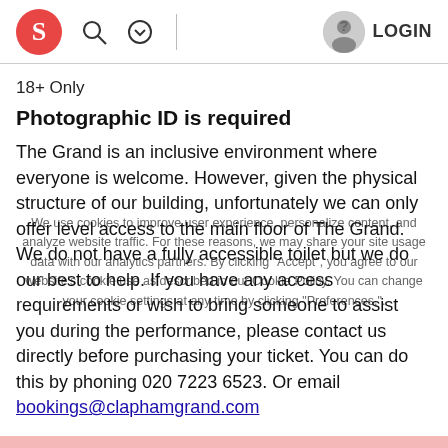S [logo] [search icon] [dropdown icon] | [user icon] LOGIN
18+ Only
Photographic ID is required
The Grand is an inclusive environment where everyone is welcome. However, given the physical structure of our building, unfortunately we can only offer level access to the main floor of The Grand. We do not have a fully accessible toilet but we do our best to help. If you have any access requirements or wish to bring someone to assist you during the performance, please contact us directly before purchasing your ticket. You can do this by phoning 020 7223 6523. Or email bookings@claphamgrand.com
We will do our best to make sure your visit to The Grand is as grand/good as possible.
We use cookies to improve user experience, personalize content, and analyze website traffic. For these reasons, we may share your site usage data with our analytics partners. By clicking "Accept", you agree to our website's cookie use as described in our Cookie Policy. You can change your cookie settings at any time by clicking "Preferences".